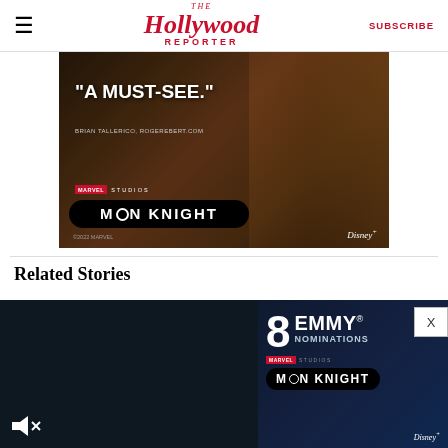THE Hollywood REPORTER | SUBSCRIBE
[Figure (photo): Moon Knight Marvel Studios advertisement banner with quote 'A MUST-SEE.' by Brian Tallerico, RogerEbert.com, showing a person with long hair in dim lighting. Disney+ and Marvel Studios branding visible.]
Related Stories
[Figure (photo): Moon Knight Emmy nominations ad - '8 EMMY NOMINATIONS' Marvel Studios Moon Knight Disney+ on dark blue background. Also shows video player dark overlay with mute icon on left side.]
MOVIE NEWS